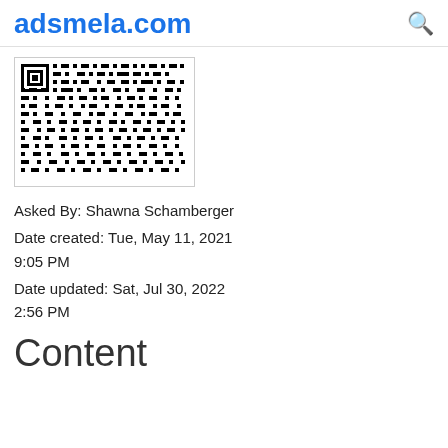adsmela.com
[Figure (other): QR code image]
Asked By: Shawna Schamberger
Date created: Tue, May 11, 2021 9:05 PM
Date updated: Sat, Jul 30, 2022 2:56 PM
Content